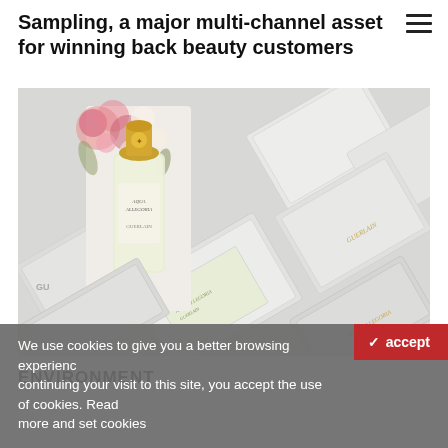Sampling, a major multi-channel asset for winning back beauty customers
[Figure (photo): Overhead view of white Guerlain perfume sample boxes arranged diagonally, with one box open showing a floral-decorated perfume bottle with a gold cap]
ENVIRONMENT
We use cookies to give you a better browsing experience. By continuing your visit to this site, you accept the use of cookies. Read more and set cookies